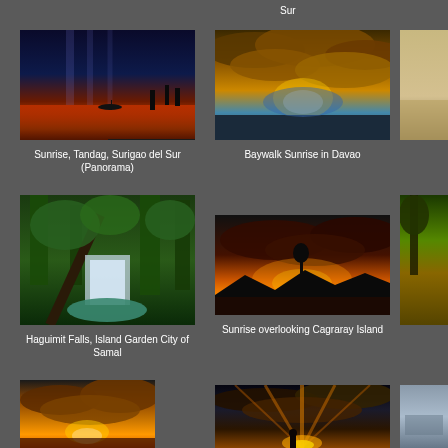Sur
[Figure (photo): Sunrise over water with silhouetted palm trees, dramatic red and orange sky - Sunrise, Tandag, Surigao del Sur (Panorama)]
Sunrise, Tandag, Surigao del Sur (Panorama)
[Figure (photo): Dramatic cloudy sky at sunrise with golden light breaking through clouds over water - Baywalk Sunrise in Davao]
Baywalk Sunrise in Davao
[Figure (photo): Partially visible coastal landscape photo - Little Bora...]
Little Bora
[Figure (photo): Tropical jungle waterfall scene with lush green vegetation - Haguimit Falls, Island Garden City of Samal]
Haguimit Falls, Island Garden City of Samal
[Figure (photo): Panoramic sunset/sunrise over lake or bay with mountains silhouetted and orange glow in sky - Sunrise overlooking Cagraray Island]
Sunrise overlooking Cagraray Island
[Figure (photo): Partially visible nature scene with trees at sunset - Sunrise o... Samal I...]
Sunrise o... Samal I...
[Figure (photo): Sunset with dramatic orange and golden clouds over water]
[Figure (photo): Dramatic sunset with rays of light bursting through clouds with silhouette of person]
[Figure (photo): Partially visible coastal or water scene]